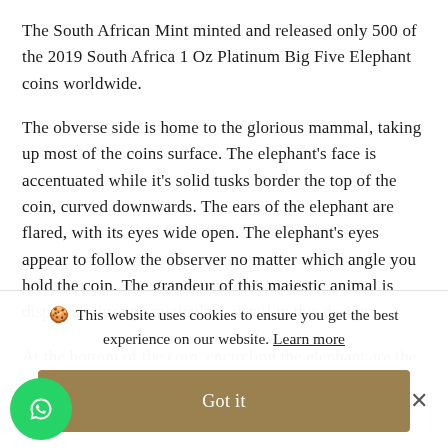The South African Mint minted and released only 500 of the 2019 South Africa 1 Oz Platinum Big Five Elephant coins worldwide.
The obverse side is home to the glorious mammal, taking up most of the coins surface. The elephant's face is accentuated while it's solid tusks border the top of the coin, curved downwards. The ears of the elephant are flared, with its eyes wide open. The elephant's eyes appear to follow the observer no matter which angle you hold the coin. The grandeur of this majestic animal is displayed through meticulous detail in this design.
At the bottom of the coin, encircling the elephant are the
🍪 This website uses cookies to ensure you get the best experience on our website. Learn more
Got it